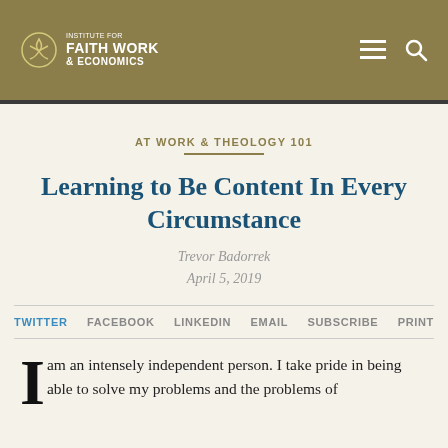INSTITUTE FOR FAITH WORK & ECONOMICS
AT WORK & THEOLOGY 101
Learning to Be Content In Every Circumstance
Trevor Badorrek
April 5, 2019
TWITTER  FACEBOOK  LINKEDIN  EMAIL  SUBSCRIBE  PRINT
I am an intensely independent person. I take pride in being able to solve my problems and the problems of